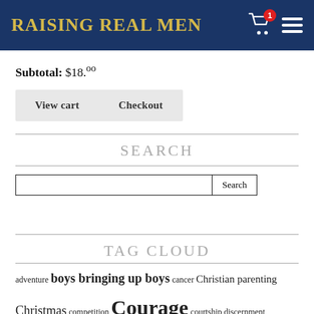Raising Real Men
Subtotal: $18.00
View cart   Checkout
SEARCH
Search input field and Search button
TAG CLOUD
adventure boys bringing up boys cancer Christian parenting Christmas competition Courage courtship discernment Facebook